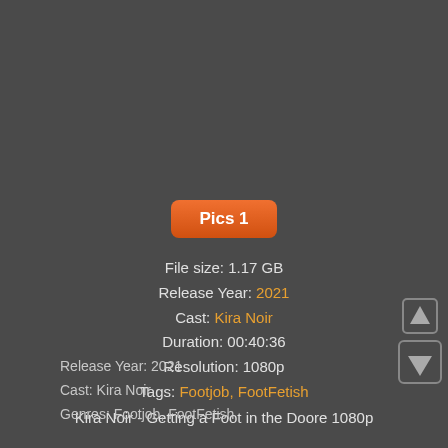Pics 1
File size: 1.17 GB
Release Year: 2021
Cast: Kira Noir
Duration: 00:40:36
Resolution: 1080p
Tags: Footjob, FootFetish
Kira Noir - Getting a Foot in the Doore 1080p
Release Year: 2021
Cast: Kira Noir
Genres: Footjob, FootFetish